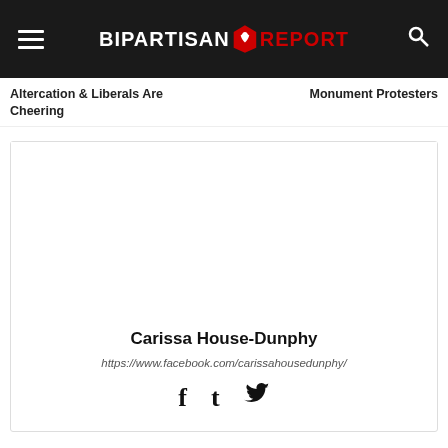BIPARTISAN REPORT
Altercation & Liberals Are Cheering
Monument Protesters
[Figure (other): Author profile card with name, URL, and social media icons]
Carissa House-Dunphy
https://www.facebook.com/carissahousedunphy/
RELATED ARTICLES   MORE FROM AUTHOR